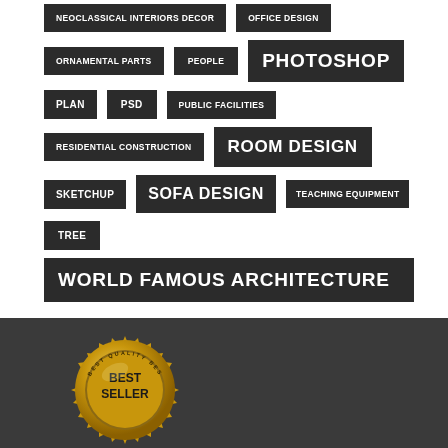NEOCLASSICAL INTERIORS DECOR
OFFICE DESIGN
ORNAMENTAL PARTS
PEOPLE
PHOTOSHOP
PLAN
PSD
PUBLIC FACILITIES
RESIDENTIAL CONSTRUCTION
ROOM DESIGN
SKETCHUP
SOFA DESIGN
TEACHING EQUIPMENT
TREE
WORLD FAMOUS ARCHITECTURE
[Figure (illustration): Best Seller gold badge/seal with sunburst rays and text BEST QUALITY repeated around the edge, BEST SELLER in bold black text in center]